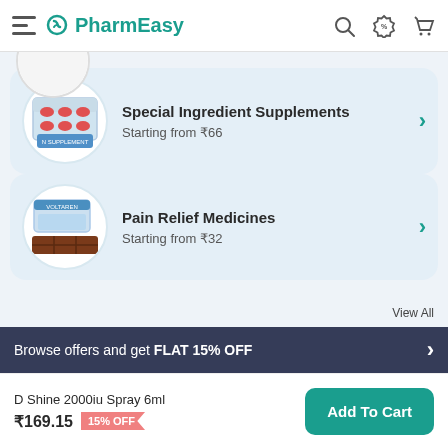PharmEasy
[Figure (screenshot): Partial circular product image at top, partially cut off]
Special Ingredient Supplements
Starting from ₹66
Pain Relief Medicines
Starting from ₹32
Browse offers and get FLAT 15% OFF
D Shine 2000iu Spray 6ml
₹169.15  15% OFF
Add To Cart